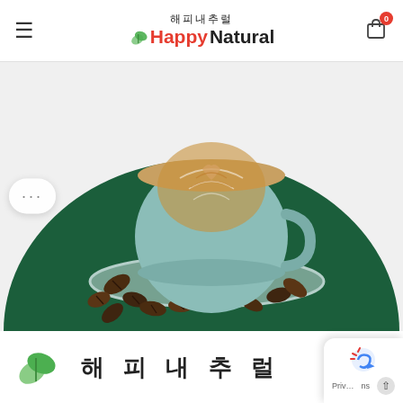해피내추럴 Happy Natural — navigation header with hamburger menu and cart icon with badge 0
[Figure (photo): Hero banner image of a light teal/mint ceramic coffee cup with latte art on a matching saucer, surrounded by scattered coffee beans, placed on a large dark green semicircular background. A '...' button is visible on the left side.]
[Figure (logo): Green leaf logo icon at the bottom left]
해 피 내 추 럴
[Figure (other): Privacy/reCAPTCHA widget overlay at bottom right corner with up arrow button]